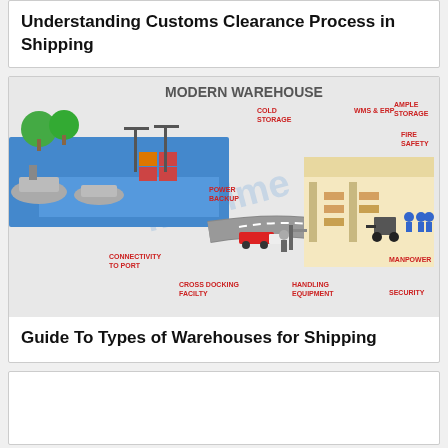Understanding Customs Clearance Process in Shipping
[Figure (illustration): Modern warehouse infographic showing a port area connected by a road to a warehouse facility. Labels include: MODERN WAREHOUSE, COLD STORAGE, WMS & ERP, AMPLE STORAGE, FIRE SAFETY, POWER BACKUP, CONNECTIVITY TO PORT, CROSS DOCKING FACILTY, HANDLING EQUIPMENT, MANPOWER, SECURITY. Watermark text 'martime' visible. Shows ships, cargo containers, forklift, and workers.]
Guide To Types of Warehouses for Shipping